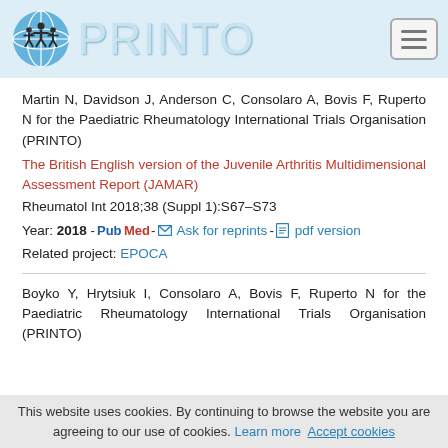PRINTO
Martin N, Davidson J, Anderson C, Consolaro A, Bovis F, Ruperto N for the Paediatric Rheumatology International Trials Organisation (PRINTO)
The British English version of the Juvenile Arthritis Multidimensional Assessment Report (JAMAR)
Rheumatol Int 2018;38 (Suppl 1):S67–S73
Year: 2018 - PubMed - Ask for reprints - pdf version
Related project: EPOCA
Boyko Y, Hrytsiuk I, Consolaro A, Bovis F, Ruperto N for the Paediatric Rheumatology International Trials Organisation (PRINTO)
This website uses cookies. By continuing to browse the website you are agreeing to our use of cookies. Learn more  Accept cookies